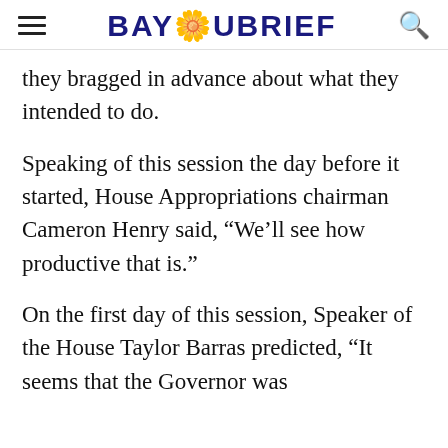BAYOUBRIEF
they bragged in advance about what they intended to do.
Speaking of this session the day before it started, House Appropriations chairman Cameron Henry said, “We’ll see how productive that is.”
On the first day of this session, Speaker of the House Taylor Barras predicted, “It seems that the Governor was